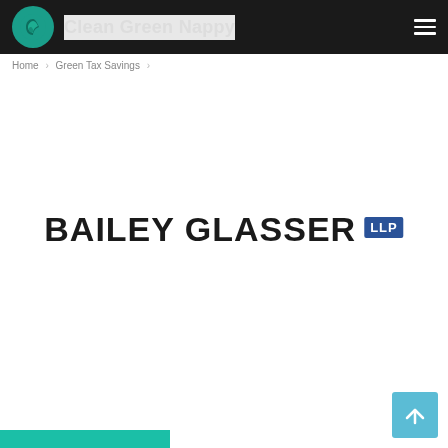Clean Green Nappy
Home > Green Tax Savings >
[Figure (logo): Bailey Glasser LLP law firm logo — large bold text 'BAILEY GLASSER' with 'LLP' in a blue box]
GREEN TAX SAVINGS